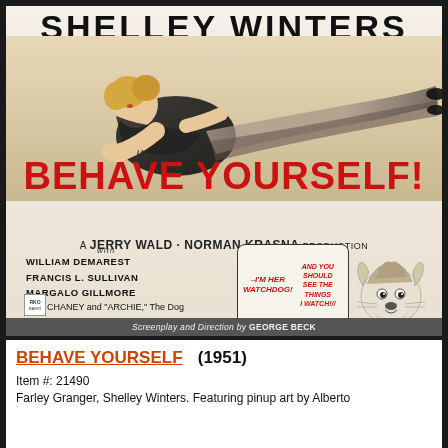[Figure (photo): Vintage movie poster for 'Behave Yourself' (1951) featuring Shelley Winters in a pinup pose wearing a black dress, with cast list, a speech bubble from a dog illustration, and production credits.]
BEHAVE YOURSELF  (1951)
Item #: 21490
Farley Granger, Shelley Winters. Featuring pinup art by Alberto